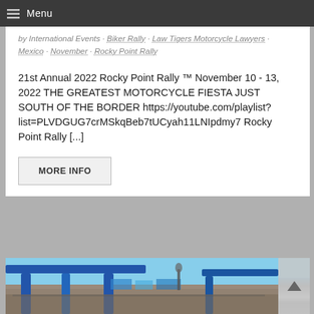Menu
by International Events · Biker Rally · Law Tigers Motorcycle Lawyers · Mexico · November · Rocky Point Rally
21st Annual 2022 Rocky Point Rally ™ November 10 - 13, 2022 THE GREATEST MOTORCYCLE FIESTA JUST SOUTH OF THE BORDER https://youtube.com/playlist?list=PLVDGUG7crMSkqBeb7tUCyah11LNIpdmy7 Rocky Point Rally [...]
MORE INFO
[Figure (photo): Outdoor motorcycle rally scene with blue steel arch/beam structures over a crowd, blue sky background, people gathered in large numbers at what appears to be the Rocky Point Rally event.]